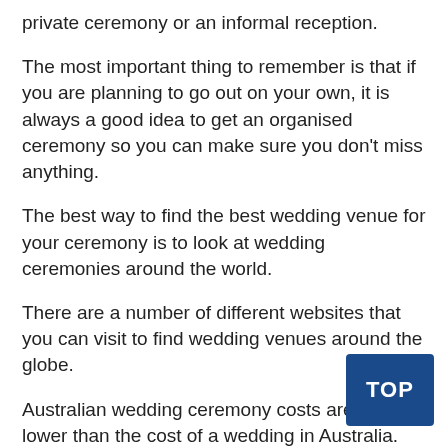private ceremony or an informal reception.
The most important thing to remember is that if you are planning to go out on your own, it is always a good idea to get an organised ceremony so you can make sure you don't miss anything.
The best way to find the best wedding venue for your ceremony is to look at wedding ceremonies around the world.
There are a number of different websites that you can visit to find wedding venues around the globe.
Australian wedding ceremony costs are much lower than the cost of a wedding in Australia.
You'll need to get your own wedding ceremony arranged, but if you don't have the money, you still have your wedding in a church.